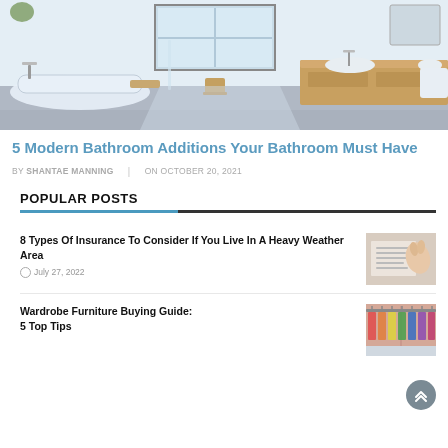[Figure (photo): Modern bathroom interior with freestanding bathtub, glass shower enclosure, wooden vanity, and natural light.]
5 Modern Bathroom Additions Your Bathroom Must Have
BY SHANTAE MANNING | ON OCTOBER 20, 2021
POPULAR POSTS
8 Types Of Insurance To Consider If You Live In A Heavy Weather Area
July 27, 2022
Wardrobe Furniture Buying Guide: 5 Top Tips